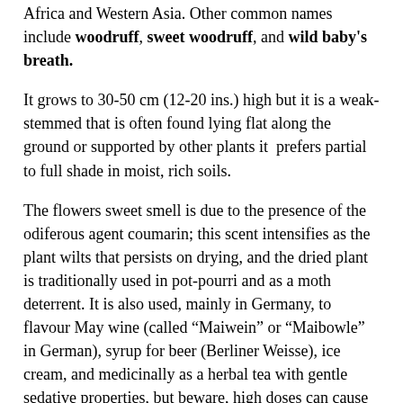Africa and Western Asia. Other common names include woodruff, sweet woodruff, and wild baby's breath.
It grows to 30-50 cm (12-20 ins.) high but it is a weak-stemmed that is often found lying flat along the ground or supported by other plants it  prefers partial to full shade in moist, rich soils.
The flowers sweet smell is due to the presence of the odiferous agent coumarin; this scent intensifies as the plant wilts that persists on drying, and the dried plant is traditionally used in pot-pourri and as a moth deterrent. It is also used, mainly in Germany, to flavour May wine (called “Maiwein” or “Maibowle” in German), syrup for beer (Berliner Weisse), ice cream, and medicinally as a herbal tea with gentle sedative properties, but beware, high doses can cause headaches, due to the toxicity of coumarin.